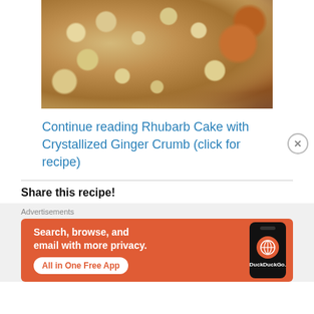[Figure (photo): Close-up photo of a rhubarb cake with crystallized ginger crumb topping, golden-brown crumbly streusel texture on top, on a round baking dish]
Continue reading Rhubarb Cake with Crystallized Ginger Crumb (click for recipe)
Share this recipe!
[Figure (screenshot): DuckDuckGo advertisement banner with orange background showing phone, text: Search, browse, and email with more privacy. All in One Free App. DuckDuckGo.]